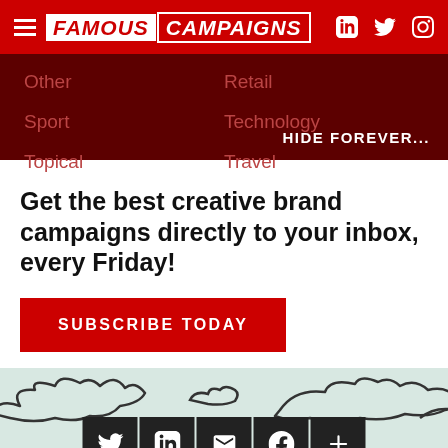FAMOUS CAMPAIGNS
Other
Retail
Sport
Technology
Topical
Travel
HIDE FOREVER...
Get the best creative brand campaigns directly to your inbox, every Friday!
SUBSCRIBE TODAY
[Figure (illustration): Decorative cloud/smoke outline illustrations on a light green-grey background with social media icons (Twitter, LinkedIn, Email, Facebook, Plus) in dark square buttons at the bottom]